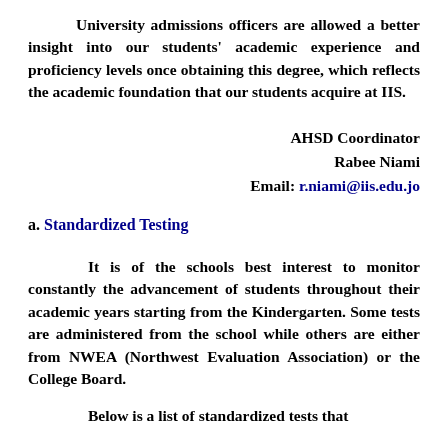University admissions officers are allowed a better insight into our students' academic experience and proficiency levels once obtaining this degree, which reflects the academic foundation that our students acquire at IIS.
AHSD Coordinator
Rabee Niami
Email: r.niami@iis.edu.jo
a. Standardized Testing
It is of the schools best interest to monitor constantly the advancement of students throughout their academic years starting from the Kindergarten. Some tests are administered from the school while others are either from NWEA (Northwest Evaluation Association) or the College Board.
Below is a list of standardized tests that